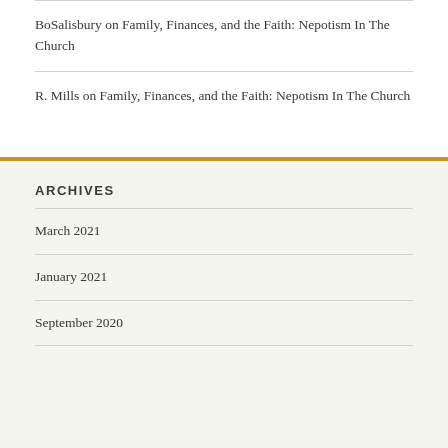BoSalisbury on Family, Finances, and the Faith: Nepotism In The Church
R. Mills on Family, Finances, and the Faith: Nepotism In The Church
ARCHIVES
March 2021
January 2021
September 2020